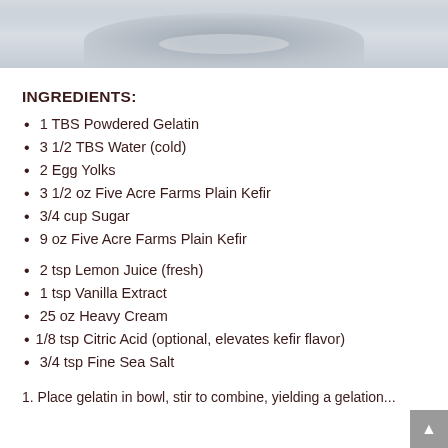[Figure (photo): Top portion of a food/dessert photo showing a bowl or plate on a white surface, partially cropped]
INGREDIENTS:
1 TBS Powdered Gelatin
3 1/2 TBS Water (cold)
2 Egg Yolks
3 1/2 oz Five Acre Farms Plain Kefir
3/4 cup Sugar
9 oz Five Acre Farms Plain Kefir
2 tsp Lemon Juice (fresh)
1 tsp Vanilla Extract
25 oz Heavy Cream
1/8 tsp Citric Acid (optional, elevates kefir flavor)
3/4 tsp Fine Sea Salt
1. Place gelatin in bowl, stir to combine, yielding a gelatin...